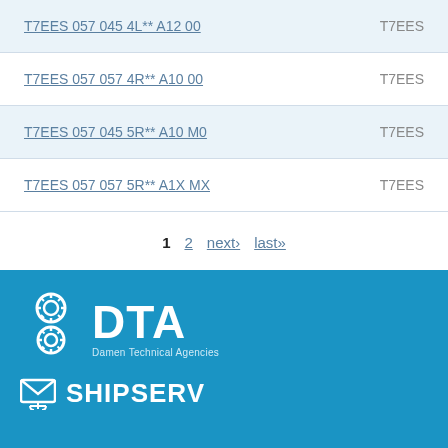T7EES 057 045 4L** A12 00 | T7EES
T7EES 057 057 4R** A10 00 | T7EES
T7EES 057 045 5R** A10 M0 | T7EES
T7EES 057 057 5R** A1X MX | T7EES
1 2 next› last»
[Figure (logo): DTA - Damen Technical Agencies logo in white on blue background, with circular gear/propeller icon]
[Figure (logo): ShipServ logo in white on blue background, with envelope/ship icon]